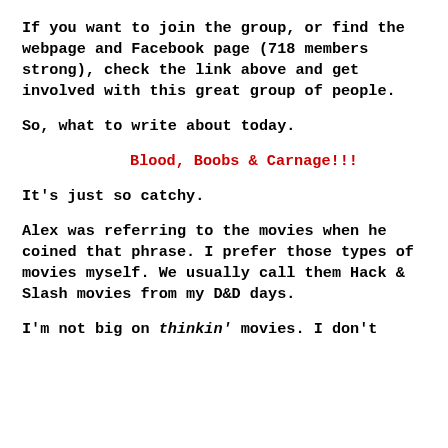If you want to join the group, or find the webpage and Facebook page (718 members strong), check the link above and get involved with this great group of people.
So, what to write about today.
Blood, Boobs & Carnage!!!
It's just so catchy.
Alex was referring to the movies when he coined that phrase. I prefer those types of movies myself. We usually call them Hack & Slash movies from my D&D days.
I'm not big on thinkin' movies. I don't